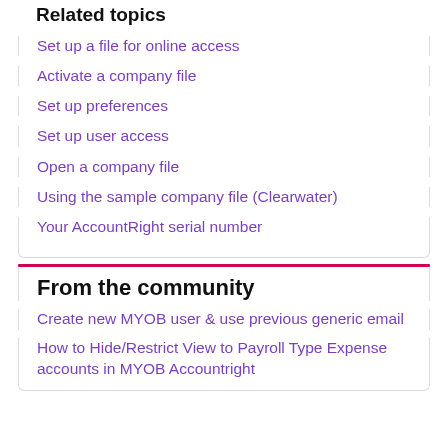Related topics
Set up a file for online access
Activate a company file
Set up preferences
Set up user access
Open a company file
Using the sample company file (Clearwater)
Your AccountRight serial number
From the community
Create new MYOB user & use previous generic email
How to Hide/Restrict View to Payroll Type Expense accounts in MYOB Accountright